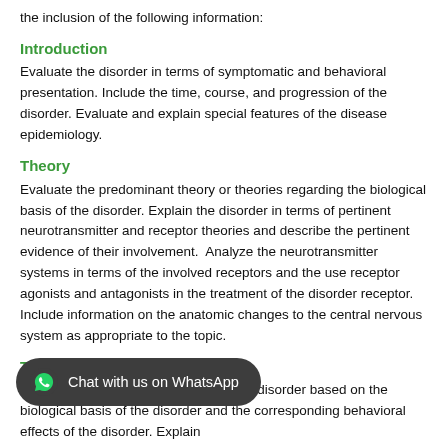the inclusion of the following information:
Introduction
Evaluate the disorder in terms of symptomatic and behavioral presentation. Include the time, course, and progression of the disorder. Evaluate and explain special features of the disease epidemiology.
Theory
Evaluate the predominant theory or theories regarding the biological basis of the disorder. Explain the disorder in terms of pertinent neurotransmitter and receptor theories and describe the pertinent evidence of their involvement.  Analyze the neurotransmitter systems in terms of the involved receptors and the use receptor agonists and antagonists in the treatment of the disorder receptor. Include information on the anatomic changes to the central nervous system as appropriate to the topic.
Treatment
Evaluate drug therapies for treating the disorder based on the biological basis of the disorder and the corresponding behavioral effects of the disorder. Explain